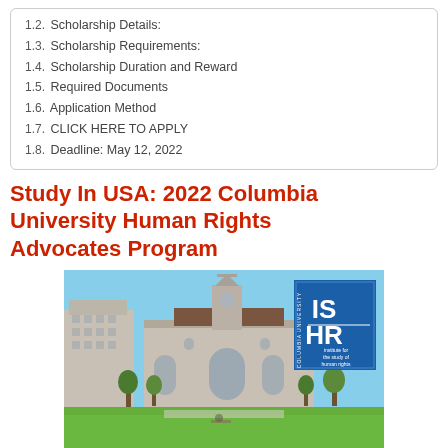1.2. Scholarship Details:
1.3. Scholarship Requirements:
1.4. Scholarship Duration and Reward
1.5. Required Documents
1.6. Application Method
1.7. CLICK HERE TO APPLY
1.8. Deadline: May 12, 2022
Study In USA: 2022 Columbia University Human Rights Advocates Program
[Figure (photo): Photo of a university campus building with a tower, green lawn in the foreground, and a blue square ISHR (Institute for the Study of Human Rights) Columbia University logo in the upper right corner.]